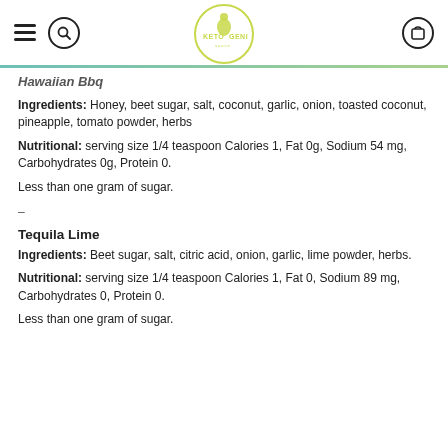Keto Geni — navigation header with hamburger menu, search, logo, and cart icon
Hawaiian Bbq
Ingredients: Honey, beet sugar, salt, coconut, garlic, onion, toasted coconut, pineapple, tomato powder, herbs
Nutritional: serving size 1/4 teaspoon Calories 1, Fat 0g, Sodium 54 mg, Carbohydrates 0g, Protein 0.
Less than one gram of sugar.
–
Tequila Lime
Ingredients: Beet sugar, salt, citric acid, onion, garlic, lime powder, herbs.
Nutritional: serving size 1/4 teaspoon Calories 1, Fat 0, Sodium 89 mg, Carbohydrates 0, Protein 0.
Less than one gram of sugar.